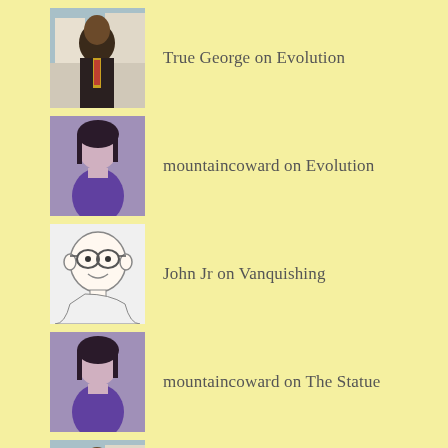True George on Evolution
mountaincoward on Evolution
John Jr on Vanquishing
mountaincoward on The Statue
True George on The Statue
mountaincoward on The Statue
True George on The Statue